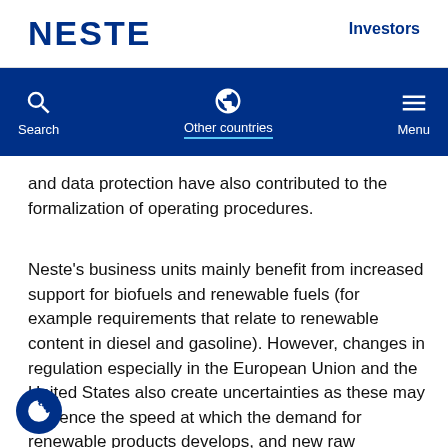NESTE | Investors
[Figure (screenshot): Neste website navigation bar with Search, Other countries, and Menu icons on dark blue background]
and data protection have also contributed to the formalization of operating procedures.
Neste's business units mainly benefit from increased support for biofuels and renewable fuels (for example requirements that relate to renewable content in diesel and gasoline). However, changes in regulation especially in the European Union and the United States also create uncertainties as these may influence the speed at which the demand for renewable products develops, and new raw materials sources are brought into use. For the renewable products, a significant source of uncertainty is fragmented regulation around acceptability and use of waste and residue feedstock.